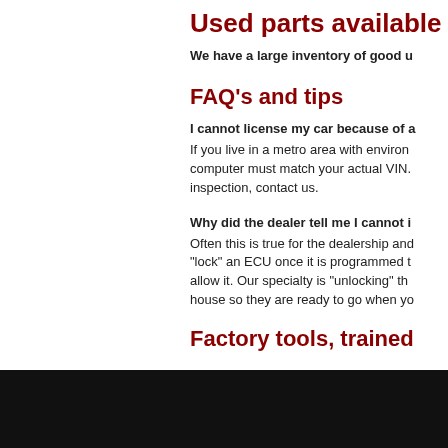Used parts available
We have a large inventory of good u
FAQ's and tips
I cannot license my car because of a
If you live in a metro area with environ computer must match your actual VIN. inspection, contact us.
Why did the dealer tell me I cannot i
Often this is true for the dealership and "lock" an ECU once it is programmed t allow it. Our specialty is "unlocking" th house so they are ready to go when yo
Factory tools, trained